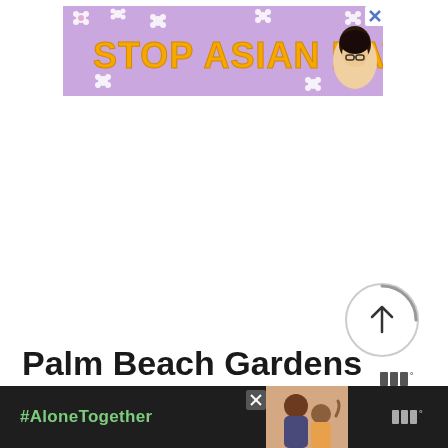[Figure (screenshot): Stop Asian Hate advertisement banner with purple floral background, yellow bold text reading STOP ASIAN HATE with an anime-style character illustration on the right side. Close button (X) in top right corner.]
[Figure (screenshot): Large white empty area in the center of the page, likely a loading or blank content area with a scroll-to-top circular button with upward arrow on the right side, and Tidal logo watermark (three bars with degree symbol) below it.]
Palm Beach Gardens
[Figure (screenshot): Bottom advertisement banner with dark background showing #AloneTogether text in green, a photo of a father and daughter waving, an X close button, and Tidal logo on the right.]